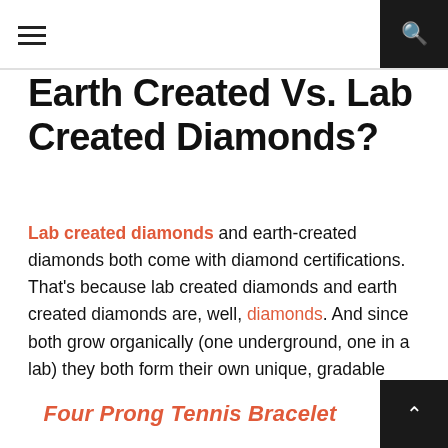☰  🔍
Earth Created Vs. Lab Created Diamonds?
Lab created diamonds and earth-created diamonds both come with diamond certifications. That's because lab created diamonds and earth created diamonds are, well, diamonds. And since both grow organically (one underground, one in a lab) they both form their own unique, gradable characteristics. In fact, even professional gemologists can't reliably tell the difference between earth-created and lab-created diamonds.
Four Prong Tennis Bracelet